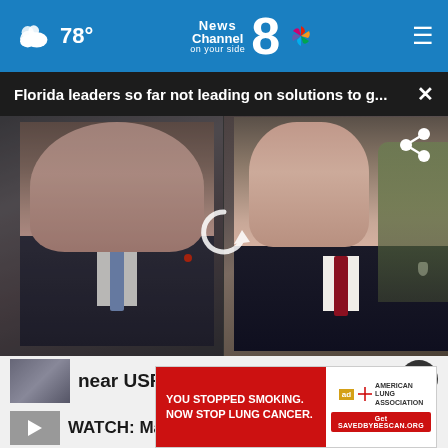78° News Channel 8 on your side
Florida leaders so far not leading on solutions to g... ×
[Figure (photo): Two-panel photo: left side shows Marco Rubio in dark suit with blue tie at a podium; right side shows Rick Scott in dark suit with red tie speaking to someone. A share icon appears top-right and a replay/circular arrow icon appears center.]
near USF
WATCH: Man allegedly...
[Figure (advertisement): Ad overlay: red background with white text 'YOU STOPPED SMOKING. NOW STOP LUNG CANCER.' American Lung Association logo and CTA button 'Get SAVEDBYBESCAN.ORG']